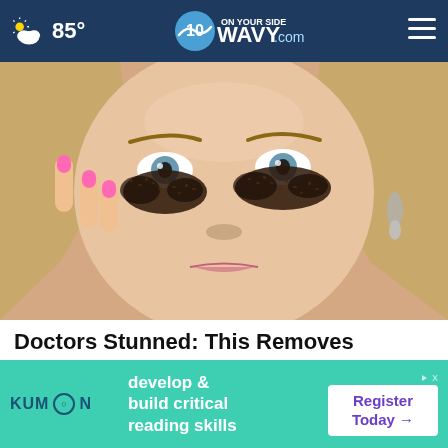85° | ON YOUR SIDE WAVY.com
[Figure (photo): Close-up photo of a blonde woman applying dark coffee grounds or similar substance under her eyes with pink-painted fingernails, wearing dangling earrings]
Doctors Stunned: This Removes Wrinkles & Eye-bags Like Crazy (Try Tonight)
Trending New Finds
[Figure (screenshot): Kumon advertisement banner: develop & build critical reading skills — Register Today →]